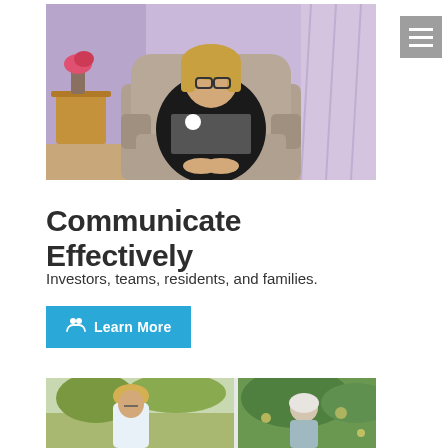[Figure (photo): A woman with glasses and blonde hair wearing a black cardigan over a checkered top, seated in a beige armchair in a room with purple walls and floral decorations.]
Communicate Effectively
Investors, teams, residents, and families.
[Figure (other): A blue button labeled 'Learn More' with a hands/people icon on the left.]
[Figure (photo): A partial view of two people outdoors, one with blonde hair looking down, in a garden-like setting.]